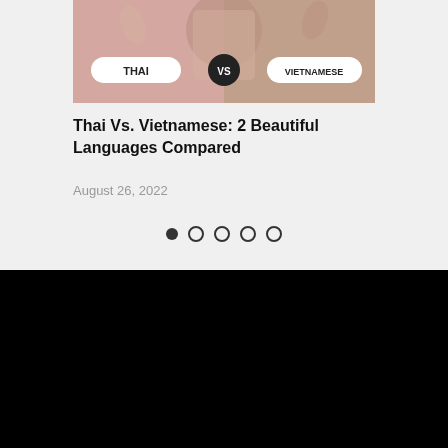[Figure (illustration): Banner image showing Thai vs Vietnamese comparison with a woman and decorative elements. Two pill-shaped labels read THAI and VIETNAMESE with VS in a dark circle between them.]
Thai Vs. Vietnamese: 2 Beautiful Languages Compared
August 26, 2022
[Figure (other): Pagination dots: one filled dark circle followed by four empty/outline circles]
[Figure (logo): App icon showing a cartoon monkey with a hat on a yellow background, giving a thumbs up]